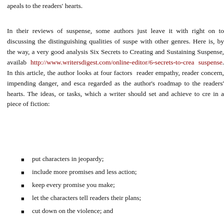apeals to the readers' hearts.
In their reviews of suspense, some authors just leave it with right on to discussing the distinguishing qualities of suspense with other genres. Here is, by the way, a very good analysis Six Secrets to Creating and Sustaining Suspense, available http://www.writersdigest.com/online-editor/6-secrets-to-creating-suspense. In this article, the author looks at four factors reader empathy, reader concern, impending danger, and escalation regarded as the author's roadmap to the readers' hearts. These ideas, or tasks, which a writer should set and achieve to create in a piece of fiction:
put characters in jeopardy;
include more promises and less action;
keep every promise you make;
let the characters tell readers their plans;
cut down on the violence; and